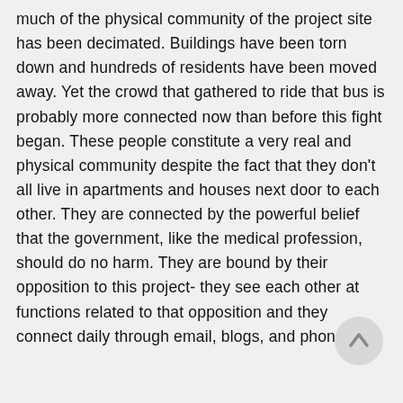much of the physical community of the project site has been decimated. Buildings have been torn down and hundreds of residents have been moved away. Yet the crowd that gathered to ride that bus is probably more connected now than before this fight began. These people constitute a very real and physical community despite the fact that they don't all live in apartments and houses next door to each other. They are connected by the powerful belief that the government, like the medical profession, should do no harm. They are bound by their opposition to this project- they see each other at functions related to that opposition and they connect daily through email, blogs, and phone.
[Figure (other): A circular scroll-to-top button with an upward arrow icon, light gray background.]